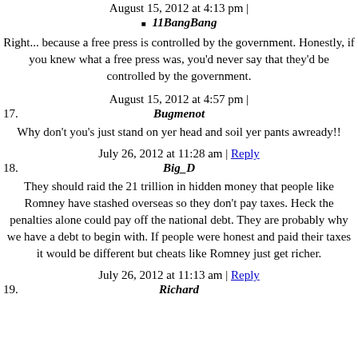August 15, 2012 at 4:13 pm |
11BangBang
Right... because a free press is controlled by the government. Honestly, if you knew what a free press was, you'd never say that they'd be controlled by the government.
August 15, 2012 at 4:57 pm |
17. Bugmenot
Why don't you's just stand on yer head and soil yer pants awready!!
July 26, 2012 at 11:28 am | Reply
18. Big_D
They should raid the 21 trillion in hidden money that people like Romney have stashed overseas so they don't pay taxes. Heck the penalties alone could pay off the national debt. They are probably why we have a debt to begin with. If people were honest and paid their taxes it would be different but cheats like Romney just get richer.
July 26, 2012 at 11:13 am | Reply
19. Richard